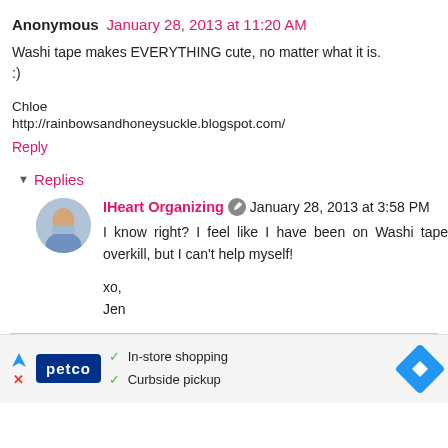Anonymous  January 28, 2013 at 11:20 AM
Washi tape makes EVERYTHING cute, no matter what it is. :)
Chloe
http://rainbowsandhoneysuckle.blogspot.com/
Reply
Replies
IHeart Organizing  January 28, 2013 at 3:58 PM
I know right? I feel like I have been on Washi tape overkill, but I can't help myself!

xo,
Jen
[Figure (other): Petco advertisement banner with logo, checkmarks for In-store shopping and Curbside pickup, and a blue navigation arrow icon]